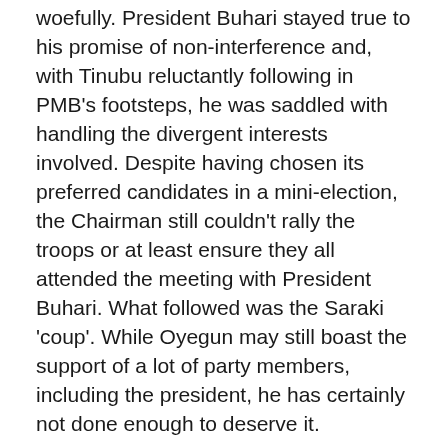woefully. President Buhari stayed true to his promise of non-interference and, with Tinubu reluctantly following in PMB's footsteps, he was saddled with handling the divergent interests involved. Despite having chosen its preferred candidates in a mini-election, the Chairman still couldn't rally the troops or at least ensure they all attended the meeting with President Buhari. What followed was the Saraki 'coup'. While Oyegun may still boast the support of a lot of party members, including the president, he has certainly not done enough to deserve it.
Sometime in March this year, Oyegun said elections into the party's BoT leadership positions would be postponed by a week because President Buhari wanted to be part of the process; more than six months after, the elections have still not held. While I agree that Atiku Abubakar squaring off against Bola Tinubu for the BoT seat may have drastic consequences on the party's well-being, it's also a pointer to Oyegun's ineptitude at preventing or resolving internal conflicts. The